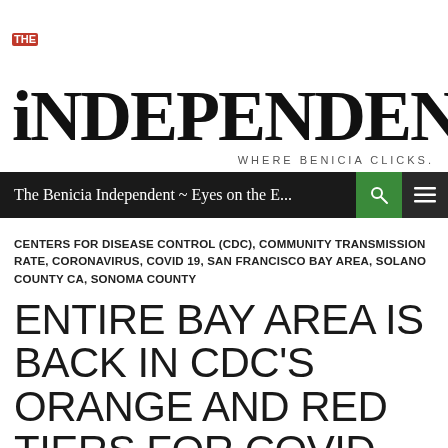[Figure (logo): The Independent newspaper logo with 'THE' badge in red and large bold serif text 'iNDEPENDENT']
WHERE BENICIA CLICKS.
The Benicia Independent ~ Eyes on the E...
CENTERS FOR DISEASE CONTROL (CDC), COMMUNITY TRANSMISSION RATE, CORONAVIRUS, COVID 19, SAN FRANCISCO BAY AREA, SOLANO COUNTY CA, SONOMA COUNTY
ENTIRE BAY AREA IS BACK IN CDC'S ORANGE AND RED TIERS FOR COVID SPREAD, SOLANO & SONOMA ONLY COUNTIES